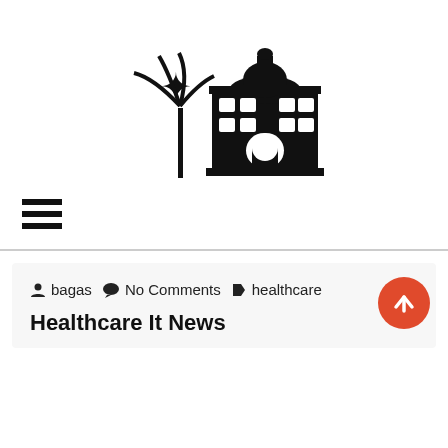[Figure (logo): Black silhouette logo of a government/capitol building with a palm tree and star]
[Figure (other): Hamburger menu icon (three horizontal lines)]
[Figure (other): Orange circular up-arrow scroll-to-top button]
bagas  No Comments  healthcare
Healthcare It News